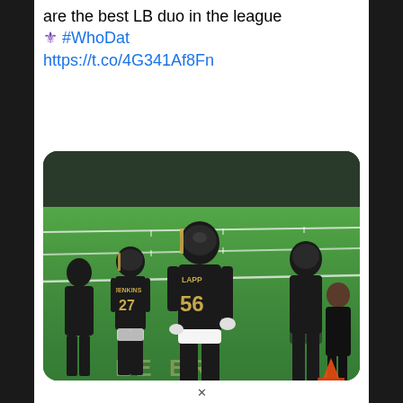are the best LB duo in the league 🔱 #WhoDat https://t.co/4G341Af8Fn
[Figure (photo): New Orleans Saints football players on field, player #56 (LAPP) in center wearing black and gold uniform, player #27 (JENKINS) to the left, another player on right side, green turf football field in background with yard lines visible]